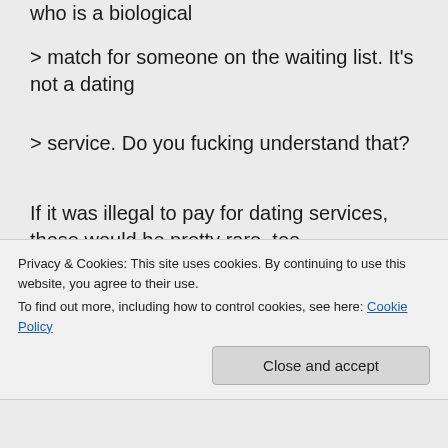who is a biological
> match for someone on the waiting list. It's not a dating
> service. Do you fucking understand that?
If it was illegal to pay for dating services, those would be pretty rare, too.
Allow me to reiterate something you have not disputed (because it's the system's own numbers); Out of each two million deaths in the US, only some five thousand people
Privacy & Cookies: This site uses cookies. By continuing to use this website, you agree to their use.
To find out more, including how to control cookies, see here: Cookie Policy
Close and accept